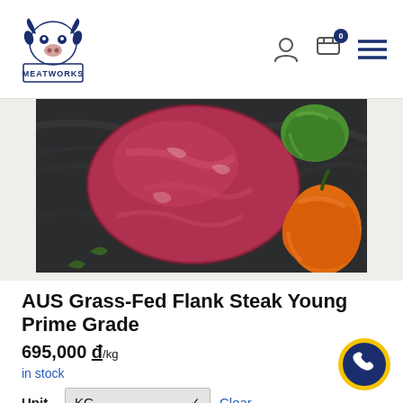[Figure (logo): Meatworks logo with bull/cow illustration and text MEATWORKS]
[Figure (photo): Product photo showing raw AUS grass-fed flank steak on dark surface with orange and green bell peppers]
AUS Grass-Fed Flank Steak Young Prime Grade
695,000 ₫/kg
in stock
Unit  KG  Clear
695,000 ₫